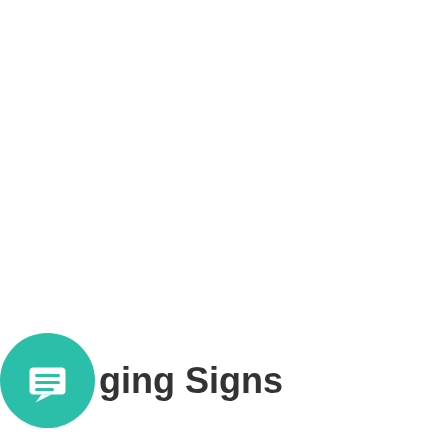[Figure (logo): Teal circular chat/messaging icon with a white speech bubble containing horizontal lines, positioned at bottom-left, partially cropped. Next to it is bold dark grey text reading 'ging Signs'.]